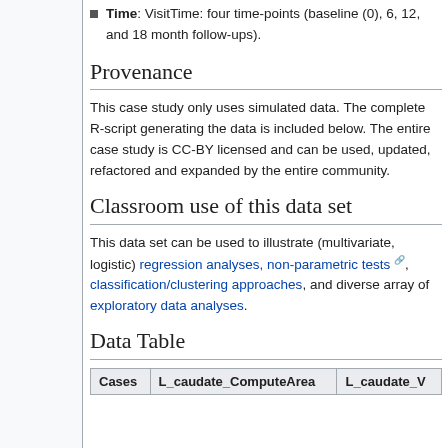Time: VisitTime: four time-points (baseline (0), 6, 12, and 18 month follow-ups).
Provenance
This case study only uses simulated data. The complete R-script generating the data is included below. The entire case study is CC-BY licensed and can be used, updated, refactored and expanded by the entire community.
Classroom use of this data set
This data set can be used to illustrate (multivariate, logistic) regression analyses, non-parametric tests, classification/clustering approaches, and diverse array of exploratory data analyses.
Data Table
| Cases | L_caudate_ComputeArea | L_caudate_V… |
| --- | --- | --- |